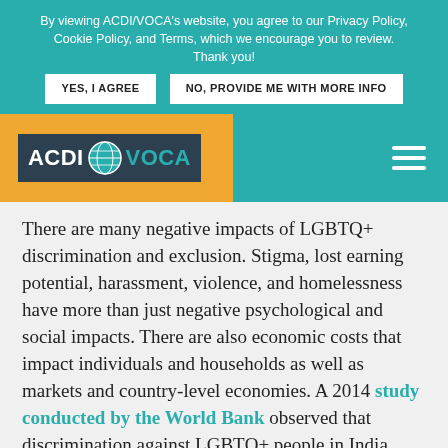By viewing ACDI/VOCA's website, you agree to our Privacy Policy, Cookie Policy, and Terms, which we encourage you to review. Thank you!
YES, I AGREE | NO, PROVIDE ME WITH MORE INFO
[Figure (logo): ACDI/VOCA logo on an orange background with a dark navy box containing the logo text and globe icon]
There are many negative impacts of LGBTQ+ discrimination and exclusion. Stigma, lost earning potential, harassment, violence, and homelessness have more than just negative psychological and social impacts. There are also economic costs that impact individuals and households as well as markets and country-level economies. A 2014 study conducted by the World Bank observed that discrimination against LGBTQ+ people in India could be costing that country's